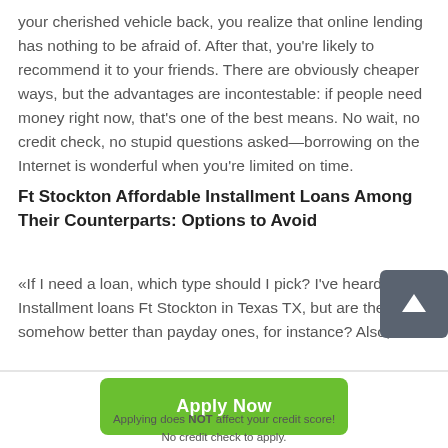your cherished vehicle back, you realize that online lending has nothing to be afraid of. After that, you're likely to recommend it to your friends. There are obviously cheaper ways, but the advantages are incontestable: if people need money right now, that's one of the best means. No wait, no credit check, no stupid questions asked—borrowing on the Internet is wonderful when you're limited on time.
Ft Stockton Affordable Installment Loans Among Their Counterparts: Options to Avoid
«If I need a loan, which type should I pick? I've heard a Installment loans Ft Stockton in Texas TX, but are the somehow better than payday ones, for instance? Also, I
[Figure (other): Scroll-to-top button: dark gray rounded square with white upward arrow]
Apply Now
Applying does NOT affect your credit score!
No credit check to apply.